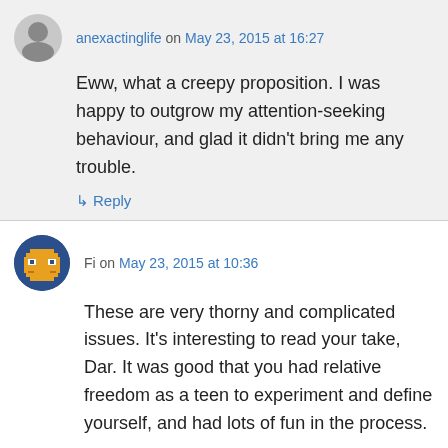anexactinglife on May 23, 2015 at 16:27
Eww, what a creepy proposition. I was happy to outgrow my attention-seeking behaviour, and glad it didn't bring me any trouble.
↳ Reply
Fi on May 23, 2015 at 10:36
These are very thorny and complicated issues. It's interesting to read your take, Dar. It was good that you had relative freedom as a teen to experiment and define yourself, and had lots of fun in the process.